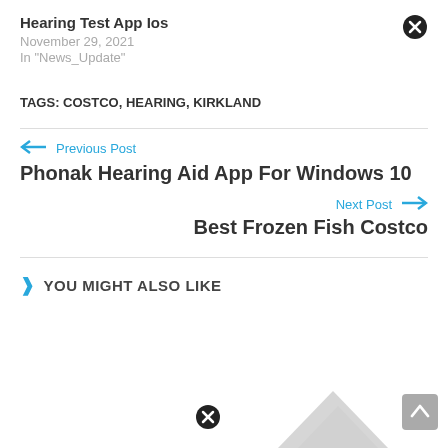Hearing Test App Ios
November 29, 2021
In "News_Update"
TAGS: COSTCO, HEARING, KIRKLAND
← Previous Post
Phonak Hearing Aid App For Windows 10
Next Post →
Best Frozen Fish Costco
YOU MIGHT ALSO LIKE